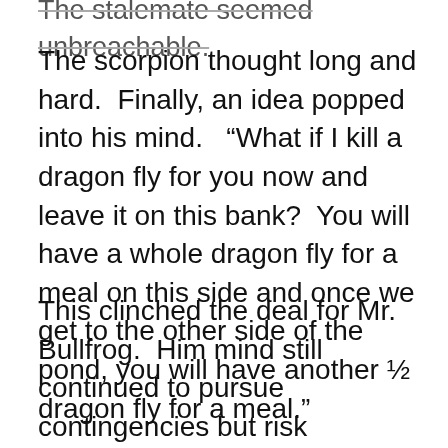The stalemate seemed unbreachable.
The scorpion thought long and hard.  Finally, an idea popped into his mind.  “What if I kill a dragon fly for you now and leave it on this bank?  You will have a whole dragon fly for a meal on this side and once we get to the other side of the pond, you will have another ½ dragon fly for a meal.”
This clinched the deal for Mr. Bullfrog.  Him mind still continued to pursue contingencies but risk mitigation theory now favored the possibilities of at least one dragon fly meal or 1 ½ meals against the possibility that the scorpion did not really have a dragon fly waiting on the other side.
It took about an hour, but the young scorpion was quick, and he soon snagged a dragon fly.  After stinging it, he